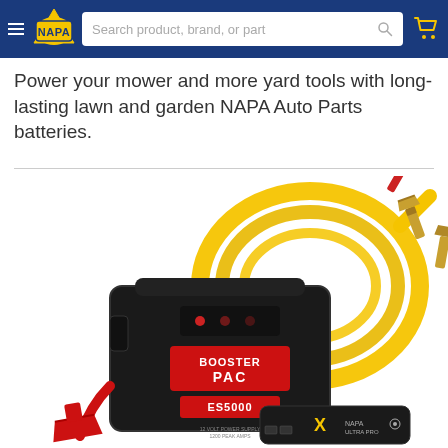NAPA Auto Parts - Search product, brand, or part
Power your mower and more yard tools with long-lasting lawn and garden NAPA Auto Parts batteries.
[Figure (photo): Product photo showing a Booster PAC ES5000 jump starter device in black with red clamps, a coiled yellow jumper cable with red and gold clamps, and a small black portable jump starter device with X branding, all on a white background.]